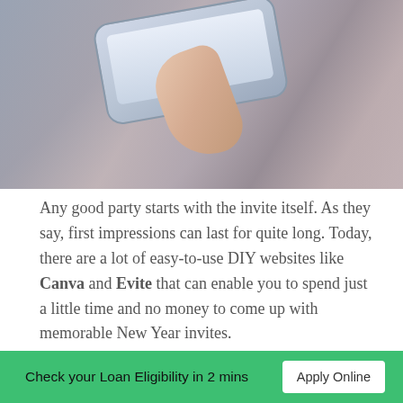[Figure (photo): A close-up photo of a hand using a smartphone, with a finger pressing the home button. The background is blurred in gray-purple tones.]
Any good party starts with the invite itself. As they say, first impressions can last for quite long. Today, there are a lot of easy-to-use DIY websites like Canva and Evite that can enable you to spend just a little time and no money to come up with memorable New Year invites.
The best part about digital invites is that you can simply blast it out to all and sundry or keep it limited to a close group of friends and just Whatsapp it out well in advance, so that they save the date on the calendar.
Check your Loan Eligibility in 2 mins   Apply Online